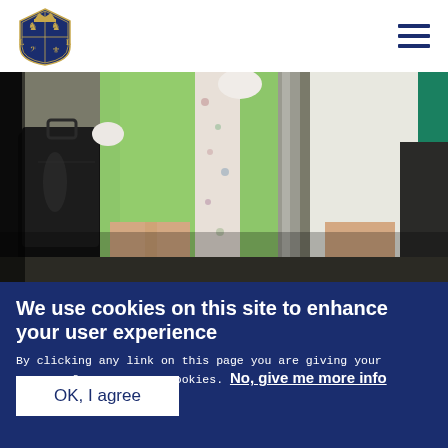Royal coat of arms logo and navigation menu
[Figure (photo): Photo showing two people from waist down — one in a light green coat holding a black handbag, one in a white outfit, standing near a doorway]
We use cookies on this site to enhance your user experience
By clicking any link on this page you are giving your consent for us to set cookies. No, give me more info
OK, I agree